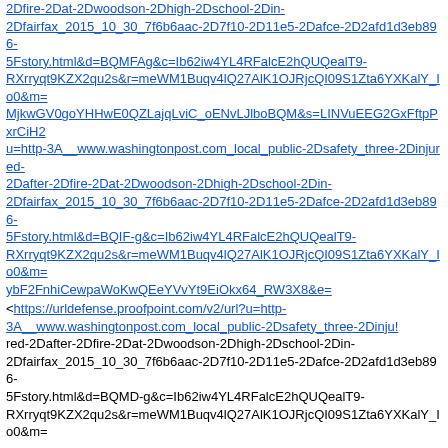2Dfire-2Dat-2Dwoodson-2Dhigh-2Dschool-2Din-2Dfairfax_2015_10_30_7f6b6aac-2D7f10-2D11e5-2Dafce-2D2afd1d3eb896-5Fstory.html&d=BQMFAg&c=Ib62iw4YL4RFalcE2hQUQealT9-RXrryqt9KZX2qu2s&r=meWM1Buqv4lQ27AlK1OJRjcQI09S1Zta6YXKalY_Io0&m=MjkwGV0goYHHwE0QZLajqLviC_oENvLJlboBQM&s=LINVuEEG2GxFftpPxrCiH2u=http-3A__www.washingtonpost.com_local_public-2Dsafety_three-2Dinjured-2Dafter-2Dfire-2Dat-2Dwoodson-2Dhigh-2Dschool-2Din-2Dfairfax_2015_10_30_7f6b6aac-2D7f10-2D11e5-2Dafce-2D2afd1d3eb896-5Fstory.html&d=BQIF-g&c=Ib62iw4YL4RFalcE2hQUQealT9-RXrryqt9KZX2qu2s&r=meWM1Buqv4lQ27AlK1OJRjcQI09S1Zta6YXKalY_Io0&m=ybF2FnhiCewpaWoKwQEeYVvYt9EiOkx64_RW3X8&e=
<https://urldefense.proofpoint.com/v2/url?u=http-3A__www.washingtonpost.com_local_public-2Dsafety_three-2Dinju! red-2Dafter-2Dfire-2Dat-2Dwoodson-2Dhigh-2Dschool-2Din-2Dfairfax_2015_10_30_7f6b6aac-2D7f10-2D11e5-2Dafce-2D2afd1d3eb896-5Fstory.html&d=BQMD-g&c=Ib62iw4YL4RFalcE2hQUQealT9-RXrryqt9KZX2qu2s&r=meWM1Buqv4lQ27AlK1OJRjcQI09S1Zta6YXKalY_Io0&m=
Two are in serious condition (presumably with burns). No chemistry details yet. I think we all have a good guess at what was involved based on unfortunate past experiences, but let's sit tight until there is confirmation.
Rob Toreki
========================================================
Safety Emporium - Lab & Safety Supplies featuring brand names you know and trust. Visit us at <https://urldefense.proofpoint.com/v2/url?u=http-3A__www.safetyemporium.com_&d=BQMFAg&c=Ib62iw4YL4RFalcE2hQUQealT9-RXrryqt9KZX2qu2s&r=meWM1Buqv4lQ27AlK1OJRjcQI09S1Zta6YXKalY_Io0&m=MjkwGV0goYHHwE0QZLajqLviC_oENvLJlboBQM&s=UqxPtgcbCAnZjSdPHURH https://urldefense.proofpoint.com/v2/url?u=http-3A__www.SafetyEmporium.com&d=BQIF-g&c=Ib62iw4YL4RFalcE2hQUQealT9-